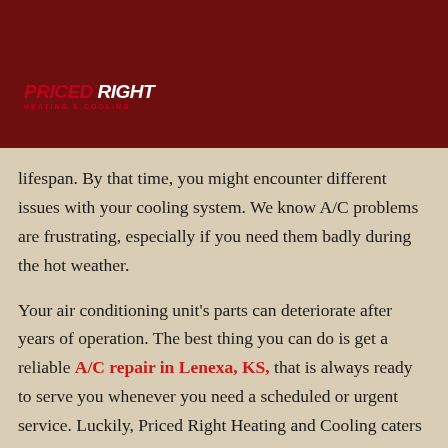[Figure (logo): Priced Right Heating & Cooling logo on teal badge with red text]
lifespan. By that time, you might encounter different issues with your cooling system. We know A/C problems are frustrating, especially if you need them badly during the hot weather.
Your air conditioning unit's parts can deteriorate after years of operation. The best thing you can do is get a reliable A/C repair in Lenexa, KS, that is always ready to serve you whenever you need a scheduled or urgent service. Luckily, Priced Right Heating and Cooling caters to a wide variety of A/C repairs in your area.